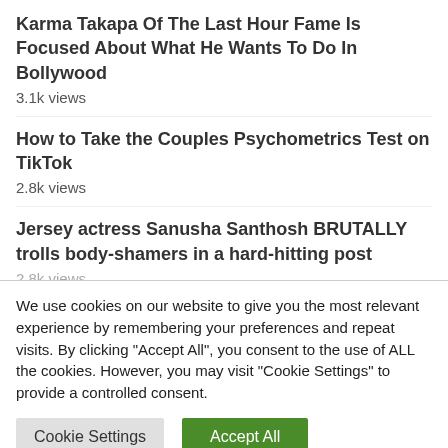Karma Takapa Of The Last Hour Fame Is Focused About What He Wants To Do In Bollywood
3.1k views
How to Take the Couples Psychometrics Test on TikTok
2.8k views
Jersey actress Sanusha Santhosh BRUTALLY trolls body-shamers in a hard-hitting post
2.8k views
We use cookies on our website to give you the most relevant experience by remembering your preferences and repeat visits. By clicking "Accept All", you consent to the use of ALL the cookies. However, you may visit "Cookie Settings" to provide a controlled consent.